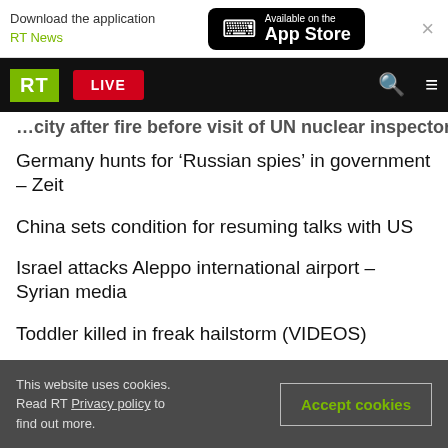Download the application RT News — Available on the App Store
[Figure (screenshot): RT website navigation bar with RT logo, LIVE button, search and menu icons]
…city after fire before visit of UN nuclear inspectors
Germany hunts for ‘Russian spies’ in government – Zeit
China sets condition for resuming talks with US
Israel attacks Aleppo international airport – Syrian media
Toddler killed in freak hailstorm (VIDEOS)
UN report accuses China of ‘crimes against
This website uses cookies. Read RT Privacy policy to find out more.
Accept cookies